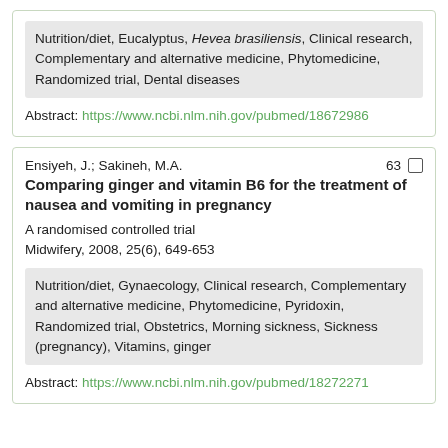Nutrition/diet, Eucalyptus, Hevea brasiliensis, Clinical research, Complementary and alternative medicine, Phytomedicine, Randomized trial, Dental diseases
Abstract: https://www.ncbi.nlm.nih.gov/pubmed/18672986
Ensiyeh, J.; Sakineh, M.A.   63
Comparing ginger and vitamin B6 for the treatment of nausea and vomiting in pregnancy
A randomised controlled trial
Midwifery, 2008, 25(6), 649-653
Nutrition/diet, Gynaecology, Clinical research, Complementary and alternative medicine, Phytomedicine, Pyridoxin, Randomized trial, Obstetrics, Morning sickness, Sickness (pregnancy), Vitamins, ginger
Abstract: https://www.ncbi.nlm.nih.gov/pubmed/18272271